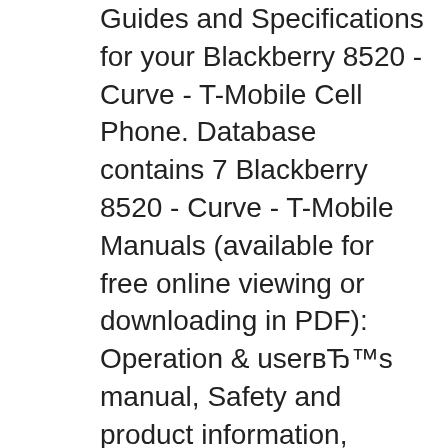Guides and Specifications for your Blackberry 8520 - Curve - T-Mobile Cell Phone. Database contains 7 Blackberry 8520 - Curve - T-Mobile Manuals (available for free online viewing or downloading in PDF): Operation & userвЂ™s manual, Safety and product information, Owner's BlackBerry Gemini, BlackBerry Curve 8520 BlackBerry 8520 Curve Gemini User Guide Manual Tips Tricks Download In this post I am posting a link of PDF file that will help you to use BlackBerry 8520 Curve in this PDF Guide all tips and tricks are mentioned so that a user can easily use BlackBerry 8520 Curve smartphone. You can find guide lines how